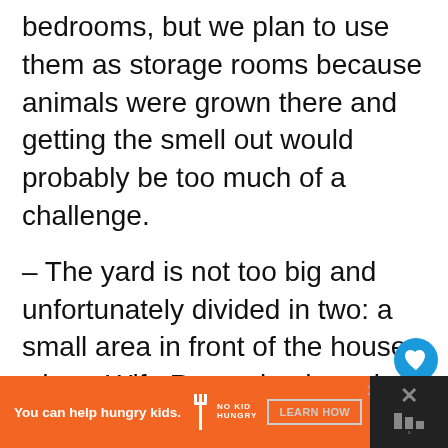bedrooms, but we plan to use them as storage rooms because animals were grown there and getting the smell out would probably be too much of a challenge.
– The yard is not too big and unfortunately divided in two: a small area in front of the house where Wife Romanian has plans for a flower garden; and the back area where I plan to soon plant some veggies and start learning how to grow my own food.
[Figure (other): Advertisement banner: orange section with 'You can help hungry kids.' text, No Kid Hungry logo with fork icon, LEARN HOW button. Right side shows dark panel with X close button.]